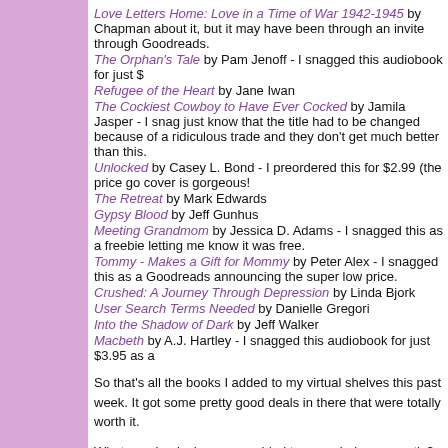Love Letters Home: Love in a Time of War 1942-1945 by Chapman - about it, but it may have been through an invite through Goodreads.
The Orphan's Tale by Pam Jenoff - I snagged this audiobook for just $
Refugee of the Heart by Jane Iwan
The Cockiest Cowboy to Have Ever Cocked by Jamila Jasper - I snag just know that the title had to be changed because of a ridiculous trade and they don't get much better than this.
Unlocked by Casey L. Bond - I preordered this for $2.99 (the price go cover is gorgeous!
The Retreat by Mark Edwards
Gypsy Blood by Jeff Gunhus
Meeting Grandmom by Jessica D. Adams - I snagged this as a freebie letting me know it was free.
Tommy - Makes a Gift for Mommy by Peter Alex - I snagged this as a Goodreads announcing the super low price.
Crushed: A Journey Through Depression by Linda Bjork
User Search Terms Needed by Danielle Gregori
Into the Shadow of Dark by Jeff Walker
Macbeth by A.J. Hartley - I snagged this audiobook for just $3.95 as a
So that's all the books I added to my virtual shelves this past week. It got some pretty good deals in there that were totally worth it.
What new books have you added to your shelves recently? - Katie